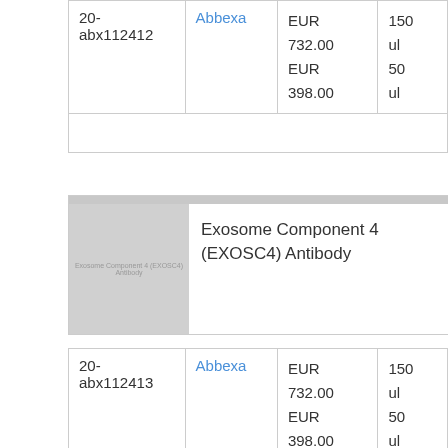| Catalog # | Supplier | Price | Size |
| --- | --- | --- | --- |
| 20-abx112412 | Abbexa | EUR 732.00
EUR 398.00 | 150 ul
50 ul |
|  |  |  |  |
[Figure (photo): Product image placeholder for Exosome Component 4 (EXOSC4) Antibody with grey background and small label text]
Exosome Component 4 (EXOSC4) Antibody
| Catalog # | Supplier | Price | Size |
| --- | --- | --- | --- |
| 20-abx112413 | Abbexa | EUR 732.00
EUR 398.00 | 150 ul
50 ul |